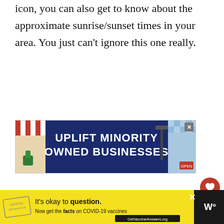icon, you can also get to know about the approximate sunrise/sunset times in your area. You just can't ignore this one really.
[Figure (other): Advertisement banner: 'UPLIFT MINORITY OWNED BUSINESSES' with a dark blue background, red/white striped awning on left, blue checkered pattern on right, and a close (X) button.]
[Figure (other): Red circular like/heart button with count '1' below, and a share button below that.]
[Figure (other): Bottom advertisement bar: yellow background with text 'It's okay to question. Now get the facts on COVID-19 vaccines GetVaccineAnswers.org'. Black bar on right with logo 'W°'.]